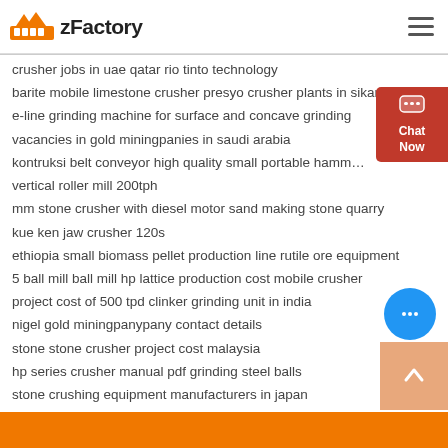zFactory
crusher jobs in uae qatar rio tinto technology
barite mobile limestone crusher presyo crusher plants in sikar
e-line grinding machine for surface and concave grinding
vacancies in gold miningpanies in saudi arabia
kontruksi belt conveyor high quality small portable hammer crush
vertical roller mill 200tph
mm stone crusher with diesel motor sand making stone quarry
kue ken jaw crusher 120s
ethiopia small biomass pellet production line rutile ore equipment
5 ball mill ball mill hp lattice production cost mobile crusher
project cost of 500 tpd clinker grinding unit in india
nigel gold miningpanypany contact details
stone stone crusher project cost malaysia
hp series crusher manual pdf grinding steel balls
stone crushing equipment manufacturers in japan
open pit vs. underground copper mining
molinos de la industria metalurgica